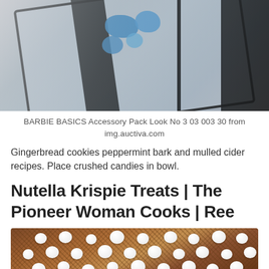[Figure (photo): Partial top view of a Barbie Basics Accessory Pack in plastic packaging, showing blue accessories against a grey/silver background with black border]
BARBIE BASICS Accessory Pack Look No 3 03 003 30 from img.auctiva.com
Gingerbread cookies peppermint bark and mulled cider recipes. Place crushed candies in bowl.
Nutella Krispie Treats | The Pioneer Woman Cooks | Ree
[Figure (photo): Close-up photo of Nutella Rice Krispie Treats in a glass baking dish, showing chocolate-brown crispy rice base topped with small white mini marshmallows]